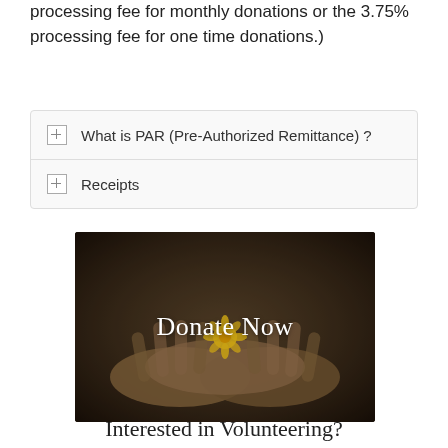processing fee for monthly donations or the 3.75% processing fee for one time donations.)
What is PAR (Pre-Authorized Remittance) ?
Receipts
[Figure (photo): Hands cupped open holding a small yellow flower, dark background, with 'Donate Now' text overlay in white]
Interested in Volunteering?